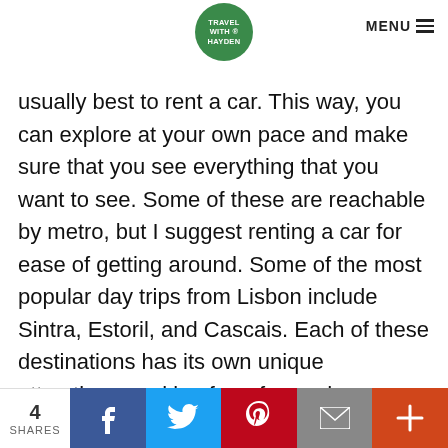TRAVEL WITH HAYDEN — MENU
usually best to rent a car. This way, you can explore at your own pace and make sure that you see everything that you want to see. Some of these are reachable by metro, but I suggest renting a car for ease of getting around. Some of the most popular day trips from Lisbon include Sintra, Estoril, and Cascais. Each of these destinations has its own unique attractions, making for a fun and memorable day trip. So, whether you're
4 SHARES | Facebook | Twitter | Pinterest | Email | +